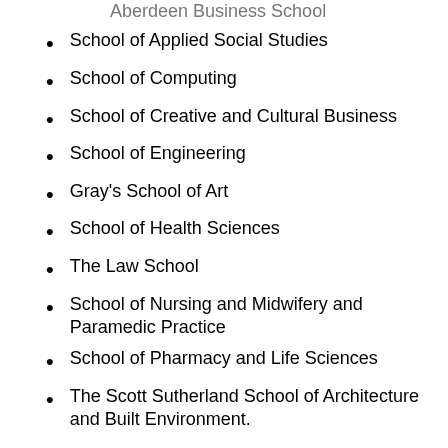School of Applied Social Studies
School of Computing
School of Creative and Cultural Business
School of Engineering
Gray's School of Art
School of Health Sciences
The Law School
School of Nursing and Midwifery and Paramedic Practice
School of Pharmacy and Life Sciences
The Scott Sutherland School of Architecture and Built Environment.
The university delivers more than 300 courses around 16,000 students from 132 countries.